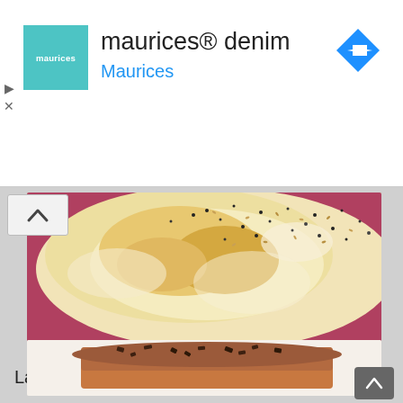[Figure (screenshot): Advertisement banner for maurices denim brand with teal logo, text 'maurices® denim' and 'Maurices', and a blue diamond-shaped direction arrow icon on the right]
[Figure (photo): Close-up photo of a lavash flatbread with black and tan sesame seeds scattered on top, bread has pale golden-brown baked color, on a red plate]
Lavash
[Figure (photo): Photo of a chocolate dessert slice with whipped chocolate cream topping and chocolate shavings/chunks on a white plate]